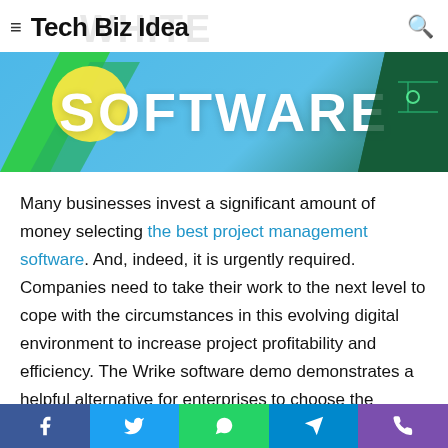Tech Biz Idea
[Figure (illustration): Software banner with colorful geometric shapes and bold white text reading SOFTWARE on a light blue background]
Many businesses invest a significant amount of money selecting the best project management software. And, indeed, it is urgently required. Companies need to take their work to the next level to cope with the circumstances in this evolving digital environment to increase project profitability and efficiency. The Wrike software demo demonstrates a helpful alternative for enterprises to choose the optimum one among many options.
Customers who trust Wrike software can use several cutting-
Facebook | Twitter | WhatsApp | Telegram | Viber